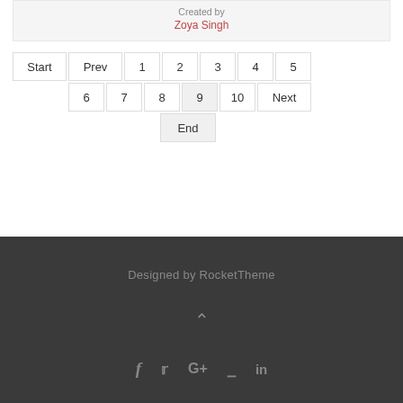Created by
Zoya Singh
Start Prev 1 2 3 4 5 6 7 8 9 10 Next End
Designed by RocketTheme